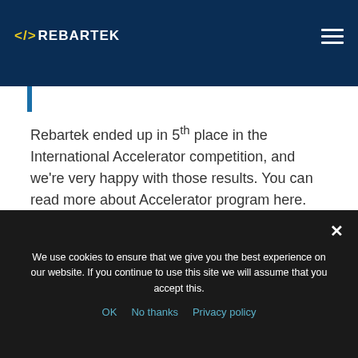</> REBARTEK
Rebartek ended up in 5th place in the International Accelerator competition, and we're very happy with those results. You can read more about Accelerator program here.
[Figure (photo): Photo of two men partially visible, with an overlaid numbered list showing competition rankings: 1. Strap Technologies, 2. Homely, 3. Winko, 4. Kwerna, 5. Rebartek, 6. Sharebox]
We use cookies to ensure that we give you the best experience on our website. If you continue to use this site we will assume that you accept this.
OK   No thanks   Privacy policy